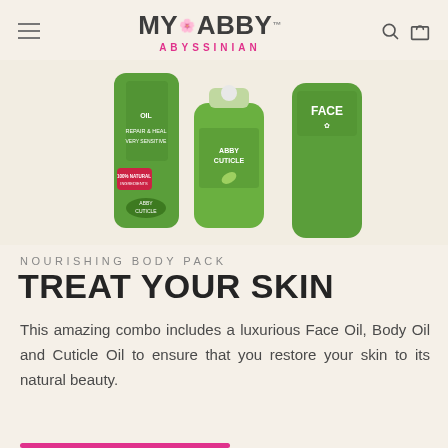MY ABBY ABYSSINIAN — navigation header with hamburger menu, logo, search and cart icons
[Figure (photo): Green product bottles of Face Oil, Body Oil, and Cuticle Oil from the Abby Cuticle / My Abby Abyssinian product line, displayed on a warm beige background.]
NOURISHING BODY PACK
TREAT YOUR SKIN
This amazing combo includes a luxurious Face Oil, Body Oil and Cuticle Oil to ensure that you restore your skin to its natural beauty.